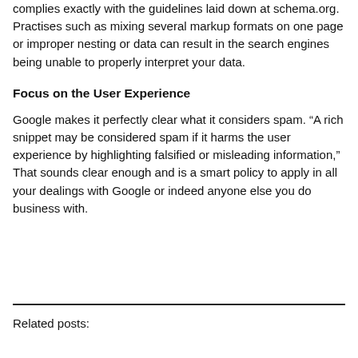complies exactly with the guidelines laid down at schema.org. Practises such as mixing several markup formats on one page or improper nesting or data can result in the search engines being unable to properly interpret your data.
Focus on the User Experience
Google makes it perfectly clear what it considers spam. “A rich snippet may be considered spam if it harms the user experience by highlighting falsified or misleading information,” That sounds clear enough and is a smart policy to apply in all your dealings with Google or indeed anyone else you do business with.
Related posts: